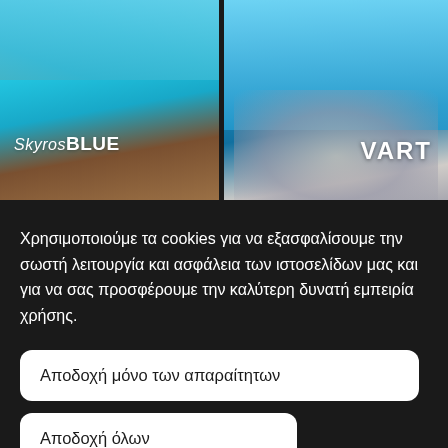[Figure (photo): Left photo: woman wearing a cyan/turquoise t-shirt with 'SkyrosBLUE' text printed on it, with a brown leather bag visible in background, bright blue sky]
[Figure (photo): Right photo: hands holding a blue glass bottle/container with 'VART' text overlay, bright blue sky background]
Χρησιμοποιούμε τα cookies για να εξασφαλίσουμε την σωστή λειτουργία και ασφάλεια των ιστοσελίδων μας και για να σας προσφέρουμε την καλύτερη δυνατή εμπειρία χρήσης.
Αποδοχή μόνο των απαραίτητων
Αποδοχή όλων